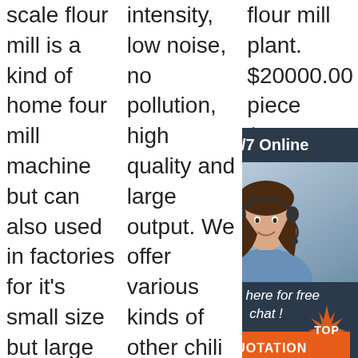scale flour mill is a kind of home four mill machine but can also used in factories for it's small size but large capacity.... M6FC Series Flour Milling Machine M6FC series small flour mill machinery is a kind of wheat flour mill, it can
intensity, low noise, no pollution, high quality and large output. We offer various kinds of other chili pepper mills, pepper powder mills and as well as pepper mill grinders. KMEC's chilli processing machine is made ...
flour mill plant. $20000.00 piece $24000.00 ... 5T... M... in... Th... Bu... To... Co... M... PriceThe multi-functional 10 ton per day maize mill machine with
[Figure (other): 24/7 Online chat widget with a smiling woman wearing a headset, a 'Click here for free chat!' call-to-action and an orange QUOTATION button]